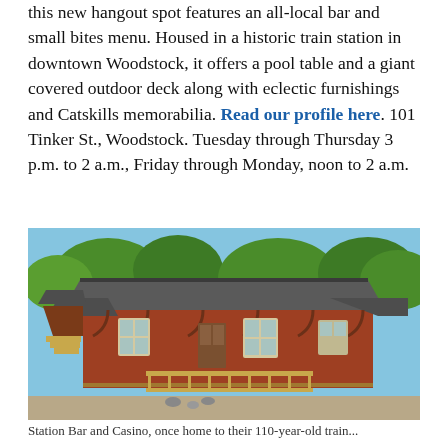this new hangout spot features an all-local bar and small bites menu. Housed in a historic train station in downtown Woodstock, it offers a pool table and a giant covered outdoor deck along with eclectic furnishings and Catskills memorabilia. Read our profile here. 101 Tinker St., Woodstock. Tuesday through Thursday 3 p.m. to 2 a.m., Friday through Monday, noon to 2 a.m.
[Figure (photo): Exterior photo of a historic red brick train station building in Woodstock with a dark shingled roof, covered porch with wooden railing, trees in background, on a sunny day.]
Station Bar and Casino, once home to their 110-year-old train...